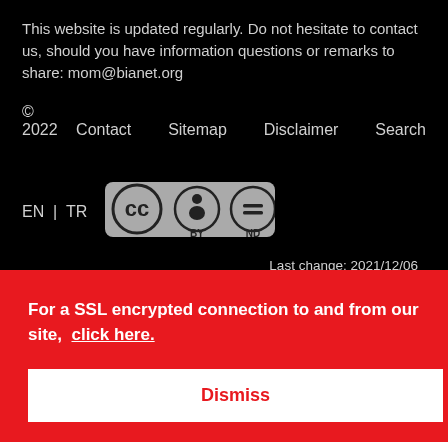This website is updated regularly. Do not hesitate to contact us, should you have information questions or remarks to share: mom@bianet.org
© 2022   Contact   Sitemap   Disclaimer   Search
EN | TR
[Figure (logo): Creative Commons BY ND license badge]
Last change: 2021/12/06
For a SSL encrypted connection to and from our site,  click here.
Dismiss